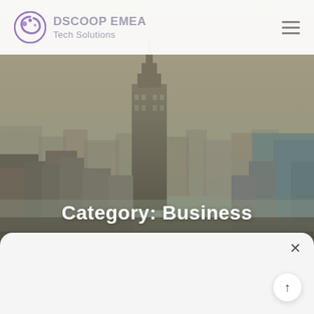DSCOOP EMEA Tech Solutions
[Figure (photo): Aerial cityscape photo showing New York City skyline with the Empire State Building prominent in the center, skyscrapers, hazy atmosphere with warm tones. The photo spans the upper portion of the page as a hero banner.]
Category: Business
X
↑